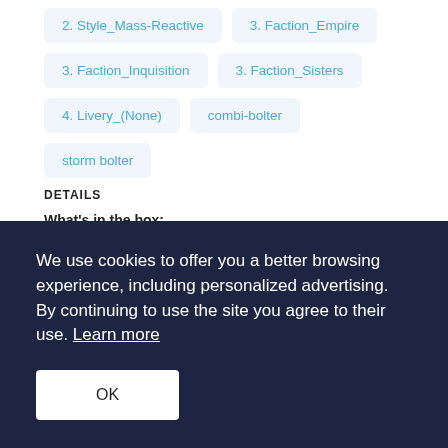2. Style_Mass-Reactive
3. Faction_Empire
3. Faction_Inquisition
3. Faction_Sisters
4. Livery_(None)
combi-bolter
storm bolter
DETAILS
What's in the box:
BlitzPistols-Base-Com-L5R5
Dimensions:
3.38 x 3.31 x 1.15 cm
We use cookies to offer you a better browsing experience, including personalized advertising. By continuing to use the site you agree to their use. Learn more